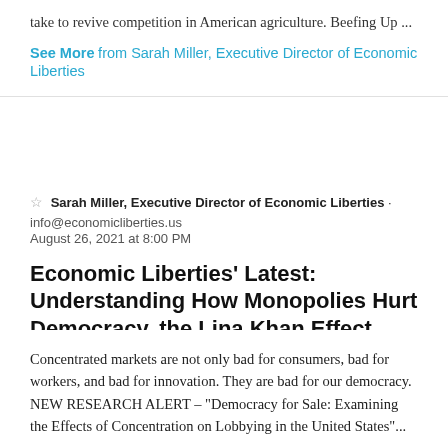take to revive competition in American agriculture. Beefing Up …
See More from Sarah Miller, Executive Director of Economic Liberties
☆ Sarah Miller, Executive Director of Economic Liberties · info@economicliberties.us
August 26, 2021 at 8:00 PM
Economic Liberties' Latest: Understanding How Monopolies Hurt Democracy, the Lina Khan Effect, and More!
Concentrated markets are not only bad for consumers, bad for workers, and bad for innovation. They are bad for our democracy.  NEW RESEARCH ALERT – "Democracy for Sale: Examining the Effects of Concentration on Lobbying in the United States"...